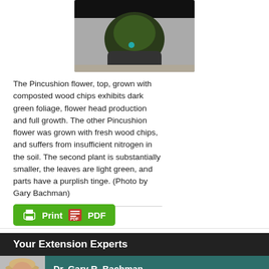[Figure (photo): Photo of a Pincushion flower plant in a dark pot on gravel, viewed from above]
The Pincushion flower, top, grown with composted wood chips exhibits dark green foliage, flower head production and full growth. The other Pincushion flower was grown with fresh wood chips, and suffers from insufficient nitrogen in the soil. The second plant is substantially smaller, the leaves are light green, and parts have a purplish tinge. (Photo by Gary Bachman)
[Figure (other): Print / PDF button in green]
Your Extension Experts
Dr. Gary R. Bachman
Extension/Research Professor